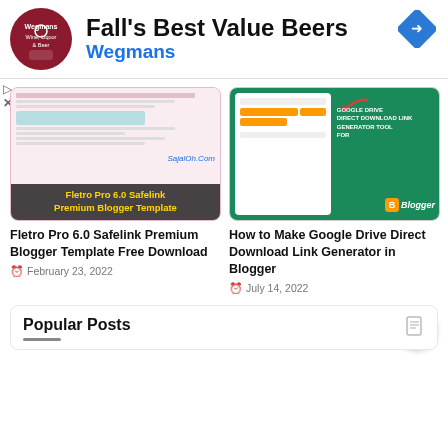[Figure (illustration): Advertisement banner: Wegmans Wine, Liquor & Beer logo with text "Fall's Best Value Beers" and "Wegmans", plus a blue navigation diamond icon]
[Figure (screenshot): Screenshot thumbnail of Fletro Pro 6.0 Safelink Premium Blogger Template blog page with overlay text]
Fletro Pro 6.0 Safelink Premium Blogger Template Free Download
February 23, 2022
[Figure (screenshot): Screenshot of Google Drive Direct Download Link Generator Tool for Blogger, showing a green background with white form and orange buttons]
How to Make Google Drive Direct Download Link Generator in Blogger
July 14, 2022
Popular Posts